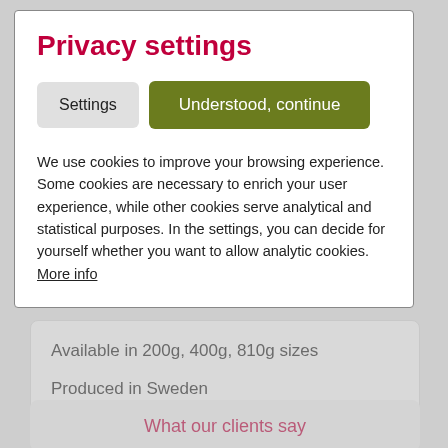Privacy settings
Settings
Understood, continue
We use cookies to improve your browsing experience. Some cookies are necessary to enrich your user experience, while other cookies serve analytical and statistical purposes. In the settings, you can decide for yourself whether you want to allow analytic cookies. More info
Available in 200g, 400g, 810g sizes
Produced in Sweden
What our clients say